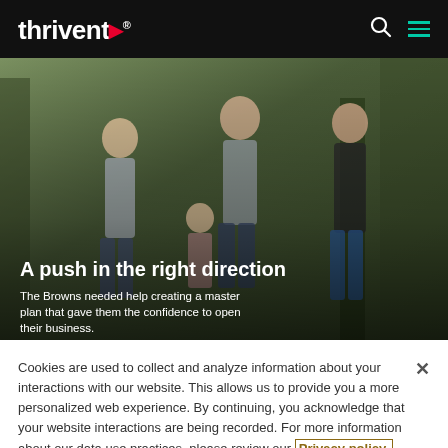thrivent
[Figure (photo): Family outdoors playing, adults and child with arms raised, green trees in background. Overlay text: 'A push in the right direction' with subtitle 'The Browns needed help creating a master plan that gave them the confidence to open their business.']
Cookies are used to collect and analyze information about your interactions with our website. This allows us to provide you a more personalized web experience. By continuing, you acknowledge that your website interactions are being recorded. For more information about our data use practices, please review our Privacy policy.
Got it!